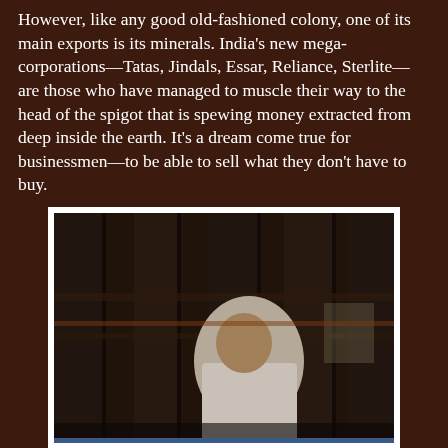However, like any good old-fashioned colony, one of its main exports is its minerals. India's new mega-corporations—Tatas, Jindals, Essar, Reliance, Sterlite—are those who have managed to muscle their way to the head of the spigot that is spewing money extracted from deep inside the earth. It's a dream come true for businessmen—to be able to sell what they don't have to buy.
[Figure (photo): A man (A. Raja) being led to jail in a vehicle, seen through bars or a grate, wearing a white shirt. The image is in a white-bordered frame.]
A whole spectrum of corruption A. Raja being led to jail in connection with the 2G scandal. (Photograph by Sanjay Rawat)
The other major source of corporate wealth comes from their land-banks. All over the world, weak, corrupt local governments have helped Wall Street brokers, agro-